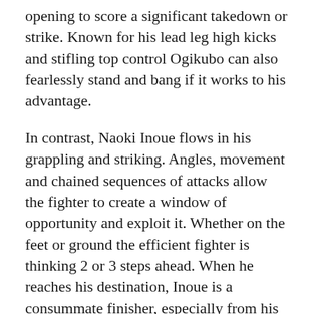opening to score a significant takedown or strike. Known for his lead leg high kicks and stifling top control Ogikubo can also fearlessly stand and bang if it works to his advantage.
In contrast, Naoki Inoue flows in his grappling and striking. Angles, movement and chained sequences of attacks allow the fighter to create a window of opportunity and exploit it. Whether on the feet or ground the efficient fighter is thinking 2 or 3 steps ahead. When he reaches his destination, Inoue is a consummate finisher, especially from his constricting back control, 5 of his 8 submissions coming by way of Rear Naked Choke. Inoue needs to use his speed and initiate and rile Ogikubo up to expose an opening. At the same time, he cannot launch into a trap his opponent has set, Ogikubo needs just one chance to close out a round on top. Observing which of